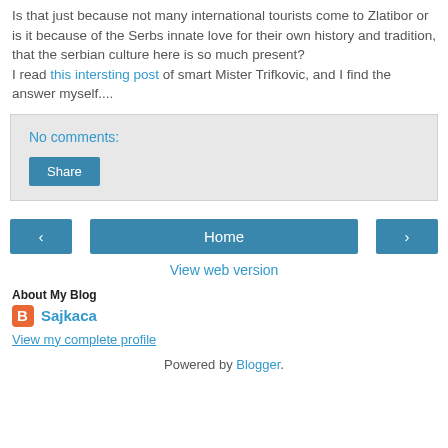Is that just because not many international tourists come to Zlatibor or is it because of the Serbs innate love for their own history and tradition, that the serbian culture here is so much present? I read this intersting post of smart Mister Trifkovic, and I find the answer myself....
No comments:
Share
‹
Home
›
View web version
About My Blog
Sajkaca
View my complete profile
Powered by Blogger.